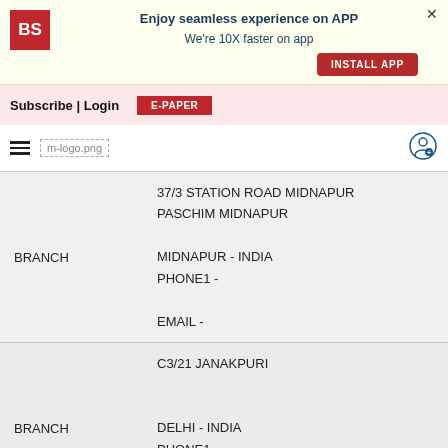Enjoy seamless experience on APP
We're 10X faster on app
INSTALL APP
Subscribe | Login  E-PAPER
m-logo.png [hamburger menu]
| Type | Address |
| --- | --- |
| BRANCH | 37/3 STATION ROAD MIDNAPUR
PASCHIM MIDNAPUR

MIDNAPUR - INDIA
PHONE1 -

EMAIL - |
| BRANCH | C3/21 JANAKPURI


DELHI - INDIA
PHONE1 -

EMAIL - |
| BRANCH | SERVICE BRANCH/CPC
RAISNA BENGALI SCHOOL

DELHI - INDIA |